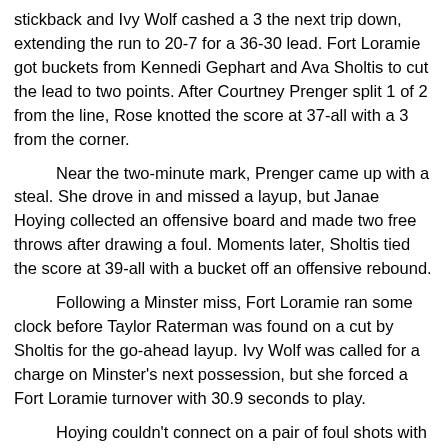stickback and Ivy Wolf cashed a 3 the next trip down, extending the run to 20-7 for a 36-30 lead. Fort Loramie got buckets from Kennedi Gephart and Ava Sholtis to cut the lead to two points. After Courtney Prenger split 1 of 2 from the line, Rose knotted the score at 37-all with a 3 from the corner.
Near the two-minute mark, Prenger came up with a steal. She drove in and missed a layup, but Janae Hoying collected an offensive board and made two free throws after drawing a foul. Moments later, Sholtis tied the score at 39-all with a bucket off an offensive rebound.
Following a Minster miss, Fort Loramie ran some clock before Taylor Raterman was found on a cut by Sholtis for the go-ahead layup. Ivy Wolf was called for a charge on Minster's next possession, but she forced a Fort Loramie turnover with 30.9 seconds to play.
Hoying couldn't connect on a pair of foul shots with 20 seconds to go, but Minster kept the ball on its side by forcing a jump ball during the rebounding battle. Fort Loramie got back the ball on another jump-ball call. After getting fouled, Rose missed the front end of a 1-and-1 with 10 seconds to play. Prenger got the rebound and kicked it to Ivy Wolf, who went coast to coast for the game-tying floater that sent it to overtime.